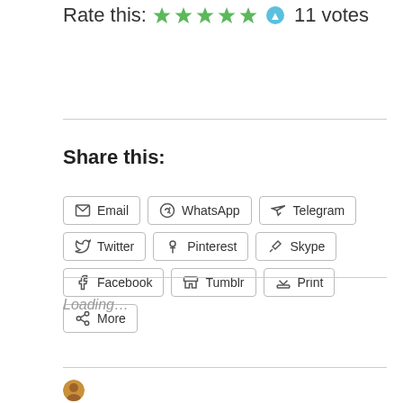Rate this: ★★★★★ 11 votes
Share this:
Email | WhatsApp | Telegram | Twitter | Pinterest | Skype | Facebook | Tumblr | Print | More
Loading...